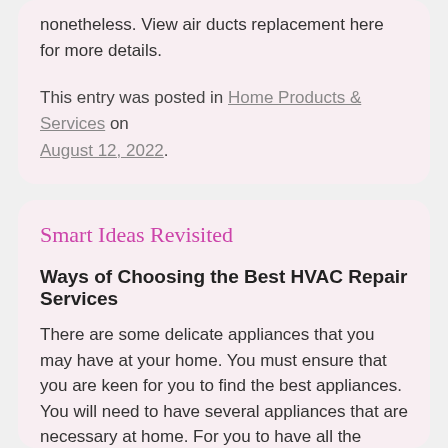nonetheless. View air ducts replacement here for more details.
This entry was posted in Home Products & Services on August 12, 2022.
Smart Ideas Revisited
Ways of Choosing the Best HVAC Repair Services
There are some delicate appliances that you may have at your home. You must ensure that you are keen for you to find the best appliances. You will need to have several appliances that are necessary at home. For you to have all the appliances that are needed at home, you will need to get enough money. You must contemplate on various things that will help you find